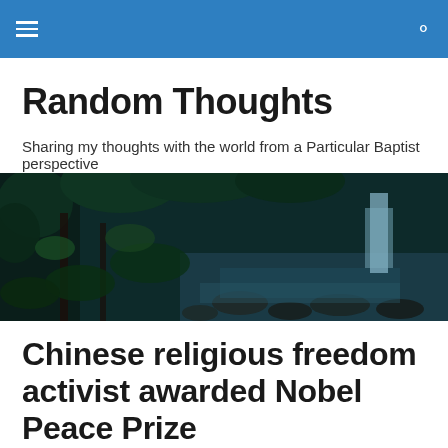Random Thoughts — navigation bar
Random Thoughts
Sharing my thoughts with the world from a Particular Baptist perspective
[Figure (photo): Dark forest scene with lush green foliage, trees, and a waterfall with rocky stream in the background]
Chinese religious freedom activist awarded Nobel Peace Prize